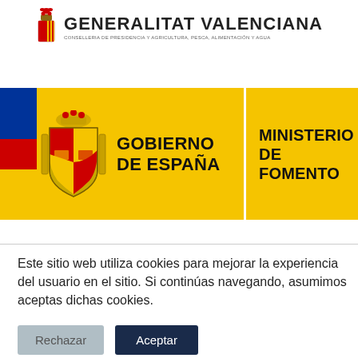[Figure (logo): Generalitat Valenciana logo with red emblem and text: GENERALITAT VALENCIANA, CONSELLERIA DE PRESIDENCIA Y AGRICULTURA, PESCA, ALIMENTACIÓN Y AGUA]
[Figure (infographic): Banner with EU/Spanish flag strip, Coat of Arms, GOBIERNO DE ESPAÑA text on yellow background (left panel) and MINISTERIO DE FOMENTO on yellow background (right panel)]
Este sitio web utiliza cookies para mejorar la experiencia del usuario en el sitio. Si continúas navegando, asumimos aceptas dichas cookies.
[Figure (other): Two buttons: Rechazar (grey) and Aceptar (dark navy)]